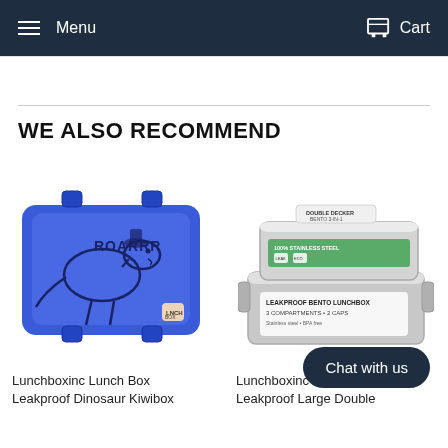Menu  Cart
WE ALSO RECOMMEND
[Figure (photo): Blue Lunchboxinc dinosaur lunch box with 'ROARRR' text and cartoon dinosaur illustration]
Lunchboxinc Lunch Box Leakproof Dinosaur Kiwibox
[Figure (photo): Stainless steel large leakproof double decker bento lunchbox with green and white label packaging]
Lunchboxinc - Large Leakproof Large Double
Chat with us